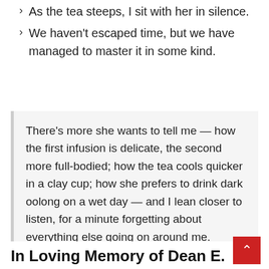As the tea steeps, I sit with her in silence.
We haven't escaped time, but we have managed to master it in some kind.
There's more she wants to tell me — how the first infusion is delicate, the second more full-bodied; how the tea cools quicker in a clay cup; how she prefers to drink dark oolong on a wet day — and I lean closer to listen, for a minute forgetting about everything else going on around me.
In Loving Memory of Dean E.